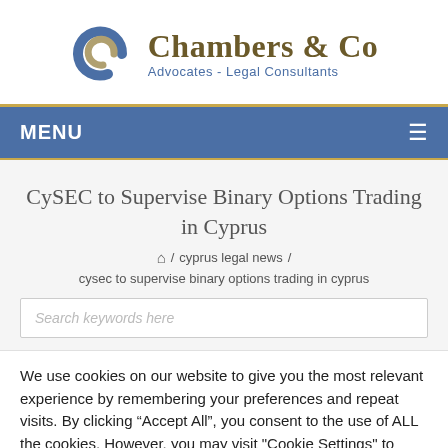[Figure (logo): Chambers & Co Advocates - Legal Consultants logo with stylized CC monogram in blue and gold]
MENU ≡
CySEC to Supervise Binary Options Trading in Cyprus
⌂ / cyprus legal news / cysec to supervise binary options trading in cyprus
Search keywords here
We use cookies on our website to give you the most relevant experience by remembering your preferences and repeat visits. By clicking "Accept All", you consent to the use of ALL the cookies. However, you may visit "Cookie Settings" to provide a controlled consent.